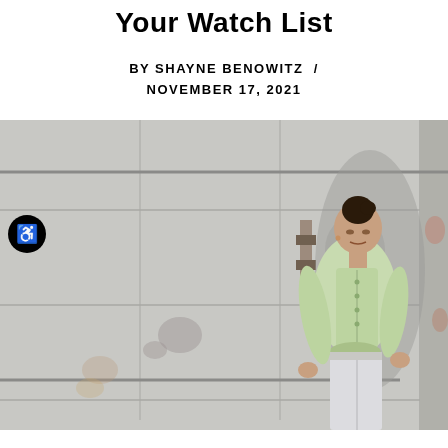Your Watch List
BY SHAYNE BENOWITZ  /  NOVEMBER 17, 2021
[Figure (photo): A woman wearing a light green cardigan and white jeans leans against a worn concrete wall, with her shadow visible behind her. She is looking toward the camera. An accessibility button icon is visible in the lower left of the image.]